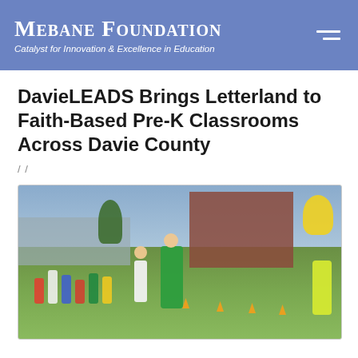MEBANE FOUNDATION — Catalyst for Innovation & Excellence in Education
DavieLEADS Brings Letterland to Faith-Based Pre-K Classrooms Across Davie County
/ /
[Figure (photo): Outdoor scene showing children and adults running on a grassy area next to a brick building. A woman in a green shirt leads the group, a person in a yellow vest is on the right, and children are lined up in the background. Orange cones mark a path. Cars are parked in the background.]